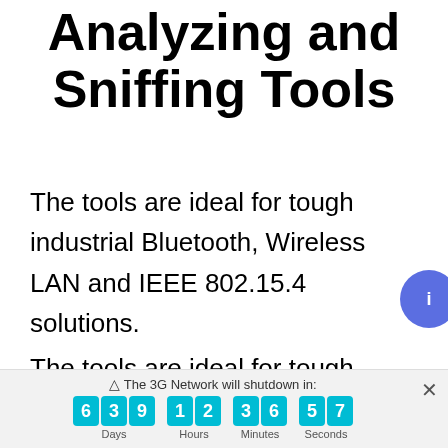Analyzing and Sniffing Tools
The tools are ideal for tough industrial Bluetooth, Wireless LAN and IEEE 802.15.4 solutions.
The tools are ideal for tough industrial
△ The 3G Network will shutdown in: 6 3 9 Days 1 2 Hours 3 6 Minutes 5 7 Seconds ×